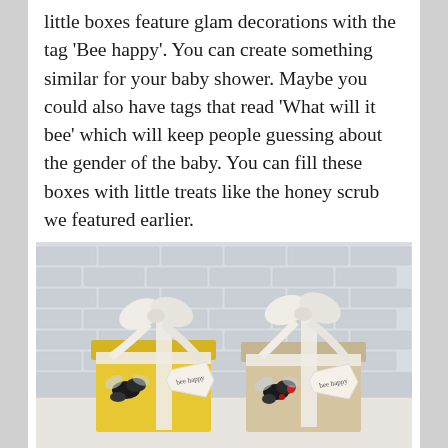little boxes feature glam decorations with the tag 'Bee happy'. You can create something similar for your baby shower. Maybe you could also have tags that read 'What will it bee' which will keep people guessing about the gender of the baby. You can fill these boxes with little treats like the honey scrub we featured earlier.
[Figure (photo): Two decorative gift boxes — one yellow and one beige/cream — each topped with a white satin ribbon bow and a jeweled bee brooch decoration, along with a tag reading 'bee happy'. The boxes sit on a white surface against a white brick wall background.]